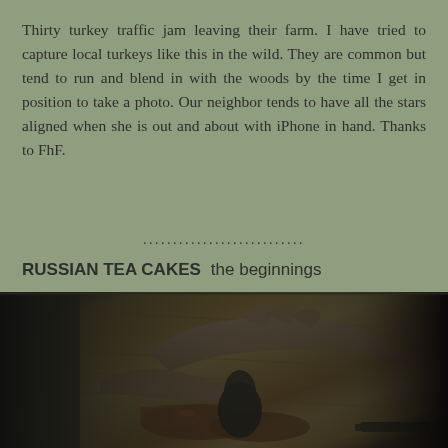Thirty turkey traffic jam leaving their farm. I have tried to capture local turkeys like this in the wild. They are common but tend to run and blend in with the woods by the time I get in position to take a photo. Our neighbor tends to have all the stars aligned when she is out and about with iPhone in hand. Thanks to FhF.
...........................
RUSSIAN TEA CAKES   the beginnings
[Figure (photo): Close-up photo of hands chopping or handling ingredients (appears to be nuts/pecans) on a wooden cutting board, with kitchen tools visible including what appears to be a mezzaluna or chopping tool.]